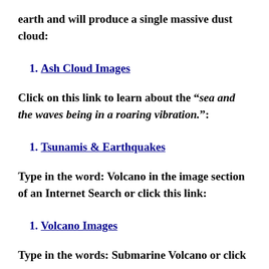earth and will produce a single massive dust cloud:
Ash Cloud Images
Click on this link to learn about the “sea and the waves being in a roaring vibration.”:
Tsunamis & Earthquakes
Type in the word: Volcano in the image section of an Internet Search or click this link:
Volcano Images
Type in the words: Submarine Volcano or click